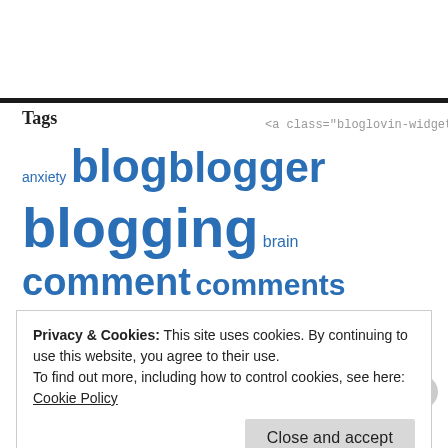Tags
<a class="bloglovin-widget" data-b
anxiety blog blogger blogging brain comment comments daily depression England happiness life mental health photography reader
[Figure (photo): Small thumbnail image with blue and orange tones]
Privacy & Cookies: This site uses cookies. By continuing to use this website, you agree to their use.
To find out more, including how to control cookies, see here: Cookie Policy
Close and accept